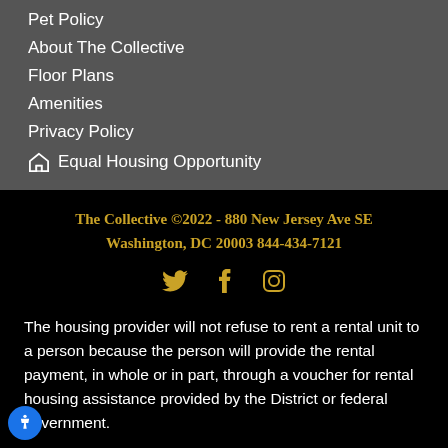Pet Policy
About The Collective
Floor Plans
Amenities
Privacy Policy
Equal Housing Opportunity
The Collective ©2022 - 880 New Jersey Ave SE Washington, DC 20003 844-434-7121
The housing provider will not refuse to rent a rental unit to a person because the person will provide the rental payment, in whole or in part, through a voucher for rental housing assistance provided by the District or federal government.